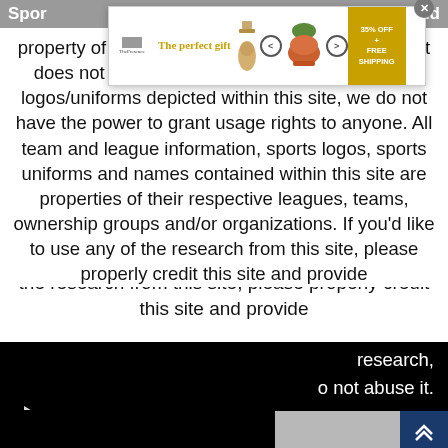[Figure (screenshot): Advertisement banner overlay for ThePresence showing 'The perfect gift' with perfume bottle, navigation arrows, decorative bowl, and '35% OFF + FREE SHIPPING' offer. Has an X close button.]
property of this site. Please note: SportsLogos.Net does not own any of the team, league or event logos/uniforms depicted within this site, we do not have the power to grant usage rights to anyone. All team and league information, sports logos, sports uniforms and names contained within this site are properties of their respective leagues, teams, ownership groups and/or organizations. If you'd like to use any of the research from this site, please properly credit this site and provide
research,
o not abuse it.
Refined News
[Figure (screenshot): Video player play button (white triangle) on black background, with partial text 'Refined News' visible on the right side.]
[Figure (screenshot): Bottom bar with gray thumbnail image on left and dark blue scroll-up button with double up-arrow chevrons on the right.]